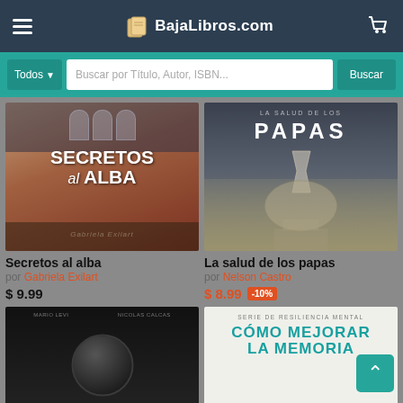BajaLibros.com
Todos | Buscar por Título, Autor, ISBN... | Buscar
[Figure (screenshot): Book cover: Secretos al alba]
Secretos al alba
por Gabriela Exilart
$ 9.99
[Figure (screenshot): Book cover: La salud de los papas]
La salud de los papas
por Nelson Castro
$ 8.99 -10%
[Figure (screenshot): Book cover: dark/chess themed book]
[Figure (screenshot): Book cover: Cómo mejorar la memoria y la concentración]